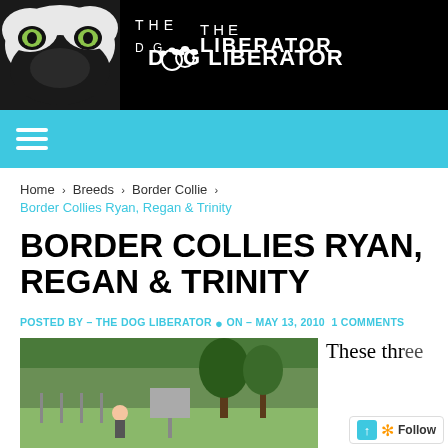[Figure (screenshot): The Dog Liberator website header banner with black background, dog face on left with green eyes, and 'THE DOG LIBERATOR' text logo on right]
THE DOG LIBERATOR
Home › Breeds › Border Collie › Border Collies Ryan, Regan & Trinity
BORDER COLLIES RYAN, REGAN & TRINITY
POSTED BY – THE DOG LIBERATOR • ON – MAY 13, 2010 1 COMMENTS
[Figure (photo): Outdoor photo showing a child and dog playing in a grassy yard with trees in background]
These three